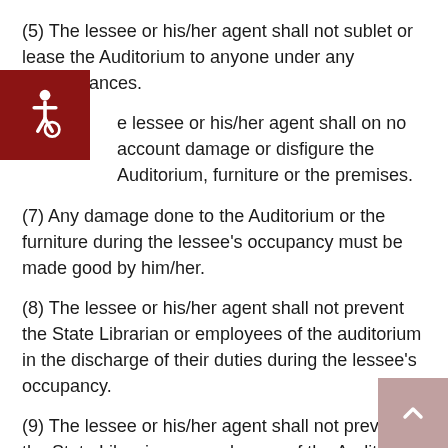(5) The lessee or his/her agent shall not sublet or lease the Auditorium to anyone under any circumstances.
(6) The lessee or his/her agent shall on no account damage or disfigure the Auditorium, furniture or the premises.
(7) Any damage done to the Auditorium or the furniture during the lessee's occupancy must be made good by him/her.
(8) The lessee or his/her agent shall not prevent the State Librarian or employees of the auditorium in the discharge of their duties during the lessee's occupancy.
(9) The lessee or his/her agent shall not prevent the State Librarian or employees of the Auditorium from entering or leaving the Auditorium at any time during the lessee's occupancy.